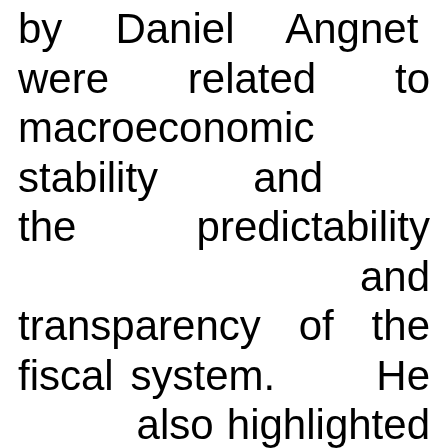by Daniel Angnet were related to macroeconomic stability and the predictability and transparency of the fiscal system. He also highlighted the importance of the dialogue between the business community and the authorities in order to stimulate the economic